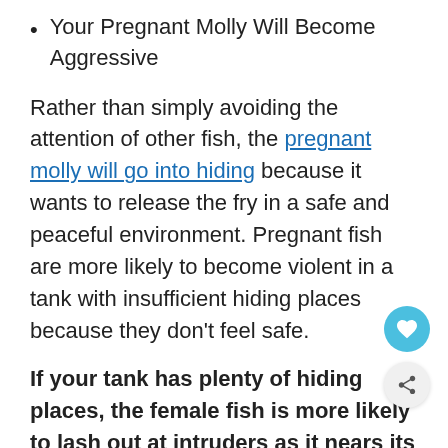Your Pregnant Molly Will Become Aggressive
Rather than simply avoiding the attention of other fish, the pregnant molly will go into hiding because it wants to release the fry in a safe and peaceful environment. Pregnant fish are more likely to become violent in a tank with insufficient hiding places because they don't feel safe.
If your tank has plenty of hiding places, the female fish is more likely to lash out at intruders as it nears its due date.
However, don't forget to look for other signs of trouble. Negative factors such as infections, stress,